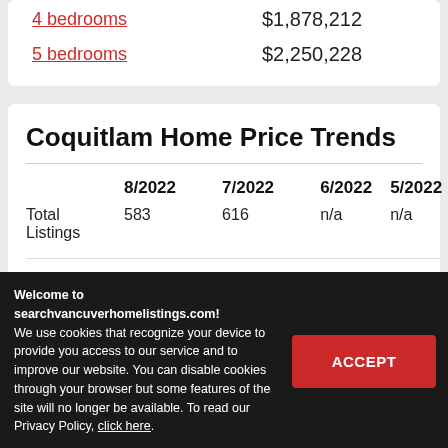4 bedrooms  $1,878,212
5 bedrooms  $2,250,228
Coquitlam Home Price Trends
|  | 8/2022 | 7/2022 | 6/2022 | 5/2022 |
| --- | --- | --- | --- | --- |
| Total Listings | 583 | 616 | n/a | n/a |
| Average | $1,462,123 | $1,456,523 | n/a | n/a |
| Median | $1,200,502 | $1,209,220 | n/a | n/a |
Welcome to searchvancuverhomelistings.com! We use cookies that recognize your device to provide you access to our service and to improve our website. You can disable cookies through your browser but some features of the site will no longer be available. To read our Privacy Policy, click here.